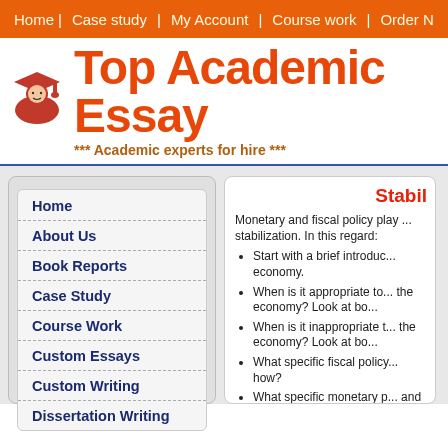[Figure (logo): Top Academic Essay website navigation bar with orange background, links: Home, Case study, My Account, Course work, Order N...]
Top Academic Essay
*** Academic experts for hire ***
Home
About Us
Book Reports
Case Study
Course Work
Custom Essays
Custom Writing
Dissertation Writing
Stabil...
Monetary and fiscal policy play ... stabilization. In this regard:
Start with a brief introduc... economy.
When is it appropriate to ... the economy? Look at bo...
When is it inappropriate t... the economy? Look at bo...
What specific fiscal policy... how?
What specific monetary p... and how?
What is your conclusion...